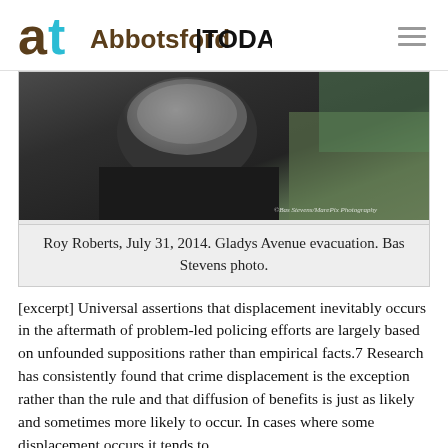Abbotsford TODAY
[Figure (photo): Close-up photograph of Roy Roberts from behind, showing grey hair and dark jacket, taken at Gladys Avenue evacuation on July 31, 2014. Photo by Bas Stevens/MarePix Photography.]
Roy Roberts, July 31, 2014. Gladys Avenue evacuation. Bas Stevens photo.
[excerpt] Universal assertions that displacement inevitably occurs in the aftermath of problem-led policing efforts are largely based on unfounded suppositions rather than empirical facts.7 Research has consistently found that crime displacement is the exception rather than the rule and that diffusion of benefits is just as likely and sometimes more likely to occur. In cases where some displacement occurs it tends to